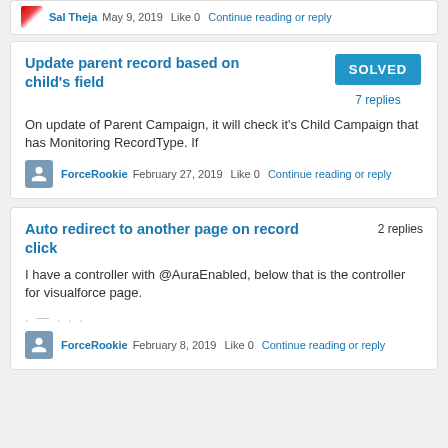Sal Theja  May 9, 2019  Like 0  Continue reading or reply
Update parent record based on child's field
SOLVED
7 replies
On update of Parent Campaign, it will check it's Child Campaign that has Monitoring RecordType. If
ForceRookie  February 27, 2019  Like 0  Continue reading or reply
Auto redirect to another page on record click
2 replies
I have a controller with @AuraEnabled, below that is the controller for visualforce page.
ForceRookie  February 8, 2019  Like 0  Continue reading or reply